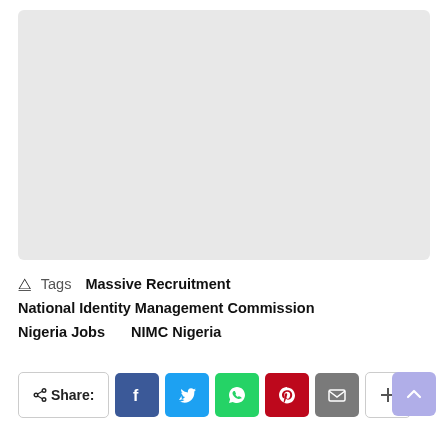[Figure (other): Gray placeholder image block]
Tags   Massive Recruitment
National Identity Management Commission
NigeriaJobs     NIMC Nigeria
Share: [Facebook] [Twitter] [WhatsApp] [Pinterest] [Email] [More]